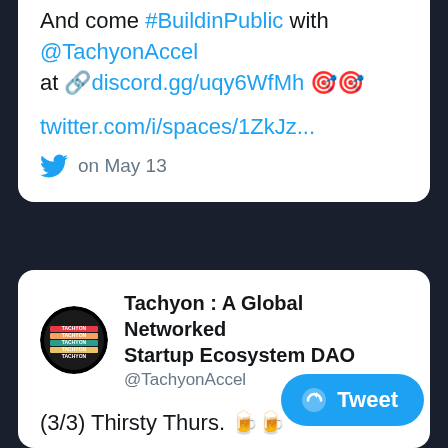And come #BuildinPublic with @TachyonAccel at 🔗discord.gg/uqy6WfMh 🎉🎉
twitter.com/i/spaces/1ZkJz...
on May 13
Tachyon : A Global Networked Startup Ecosystem DAO @TachyonAccel
(3/3) Thirsty Thurs. 🍺🍺
Two 🚀 teams also gave product d… the cohort today ↩